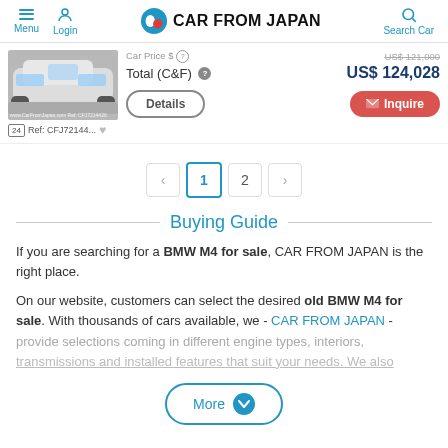Menu | Login | CAR FROM JAPAN | Search Car
Car Price $ [icon] US$ 121,000 (strikethrough)
Total (C&F) [?] US$ 124,028
Details | Inquire
[24] Ref: CFJ72144... [heart]
Pagination: < 1 2 >
Buying Guide
If you are searching for a BMW M4 for sale, CAR FROM JAPAN is the right place.
On our website, customers can select the desired old BMW M4 for sale. With thousands of cars available, we - CAR FROM JAPAN - provide selections coming in different engine types, interiors, transmissions and installed features that suit your needs. We also
More